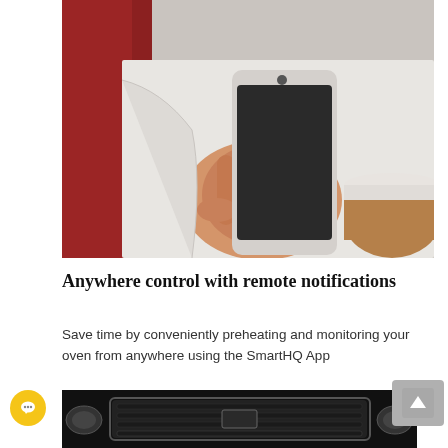[Figure (photo): Close-up photo of a person wearing a white sweater holding a silver smartphone, with a takeaway coffee cup visible in the lower right corner. The background shows a red element behind the person.]
Anywhere control with remote notifications
Save time by conveniently preheating and monitoring your oven from anywhere using the SmartHQ App
[Figure (photo): Partial black and white photo showing the front grille/bumper area of a car, cropped at the bottom of the page.]